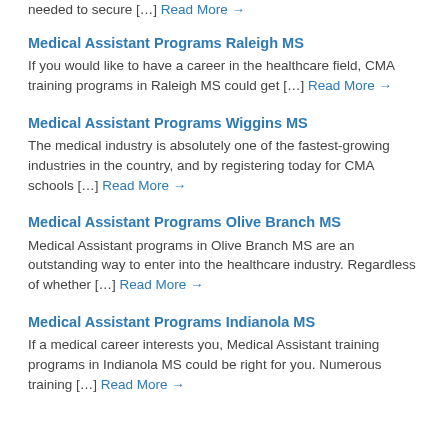Read More →
Medical Assistant Programs Raleigh MS
If you would like to have a career in the healthcare field, CMA training programs in Raleigh MS could get […] Read More →
Medical Assistant Programs Wiggins MS
The medical industry is absolutely one of the fastest-growing industries in the country, and by registering today for CMA schools […] Read More →
Medical Assistant Programs Olive Branch MS
Medical Assistant programs in Olive Branch MS are an outstanding way to enter into the healthcare industry. Regardless of whether […] Read More →
Medical Assistant Programs Indianola MS
If a medical career interests you, Medical Assistant training programs in Indianola MS could be right for you. Numerous training […] Read More →